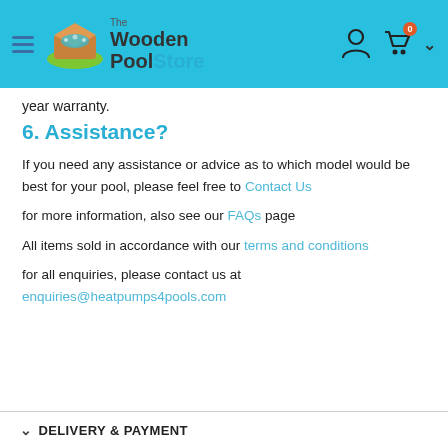The Wooden Pool Store
year warranty.
6. Assistance?
If you need any assistance or advice as to which model would be best for your pool, please feel free to Contact Us
for more information, also see our FAQs page
All items sold in accordance with our terms and conditions
for all enquiries, please contact us at enquiries@heatpumps4pools.com
DELIVERY & PAYMENT